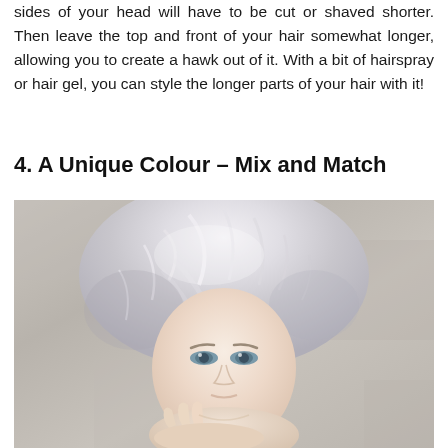sides of your head will have to be cut or shaved shorter. Then leave the top and front of your hair somewhat longer, allowing you to create a hawk out of it. With a bit of hairspray or hair gel, you can style the longer parts of your hair with it!
4. A Unique Colour – Mix and Match
[Figure (photo): Close-up photo of a woman with a short, textured pixie cut hairstyle dyed in silver/white colour. She has blue-grey eyes and is resting her chin on her hand. The background is a light grey concrete or stone wall.]